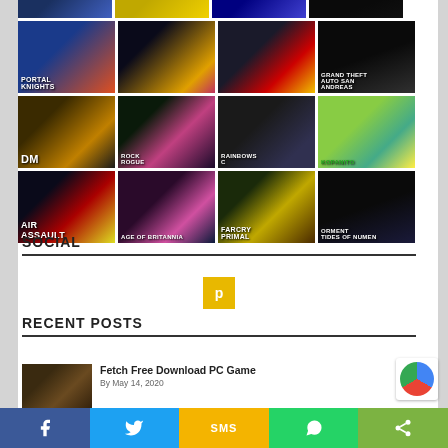[Figure (screenshot): Grid of video game thumbnail images arranged in 4 columns and 4 rows including Portal Knights, GTA San Andreas, Rainbow Six, Far Cry Primal, Torment Tides of Numenera, Air Assault, Rock Rogue, and others]
SOCIAL
[Figure (logo): Yellow/orange social media icon button]
RECENT POSTS
[Figure (photo): Game thumbnail for Fetch Free Download PC Game post]
Fetch Free Download PC Game
May 14, 2020
[Figure (infographic): Social share bar with Facebook, Twitter, SMS, WhatsApp, and share more buttons]